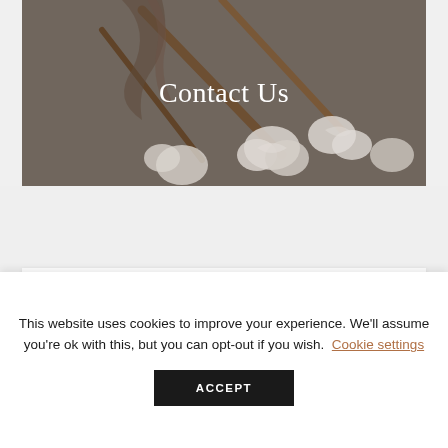[Figure (photo): Cotton flowers with brown stems on a grey-brown background, used as a hero/banner image]
Contact Us
Social
This website uses cookies to improve your experience. We'll assume you're ok with this, but you can opt-out if you wish. Cookie settings
ACCEPT